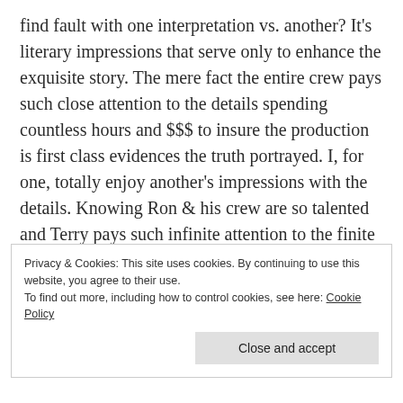find fault with one interpretation vs. another? It's literary impressions that serve only to enhance the exquisite story. The mere fact the entire crew pays such close attention to the details spending countless hours and $$$ to insure the production is first class evidences the truth portrayed. I, for one, totally enjoy another's impressions with the details. Knowing Ron & his crew are so talented and Terry pays such infinite attention to the finite detail of her world positively proves how marvelous this entire series is. I have loved reading and rereading the books but this TV interpretation is like the absolute most delicious icing on the cake. It's another
Privacy & Cookies: This site uses cookies. By continuing to use this website, you agree to their use.
To find out more, including how to control cookies, see here: Cookie Policy
Close and accept